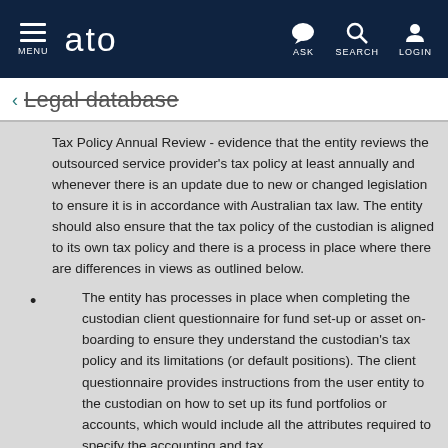MENU | ato | ASK | SEARCH | LOGIN
← Legal database
Tax Policy Annual Review - evidence that the entity reviews the outsourced service provider's tax policy at least annually and whenever there is an update due to new or changed legislation to ensure it is in accordance with Australian tax law. The entity should also ensure that the tax policy of the custodian is aligned to its own tax policy and there is a process in place where there are differences in views as outlined below.
The entity has processes in place when completing the custodian client questionnaire for fund set-up or asset on-boarding to ensure they understand the custodian's tax policy and its limitations (or default positions). The client questionnaire provides instructions from the user entity to the custodian on how to set up its fund portfolios or accounts, which would include all the attributes required to specify the accounting and tax treatment. The attributes may include it...